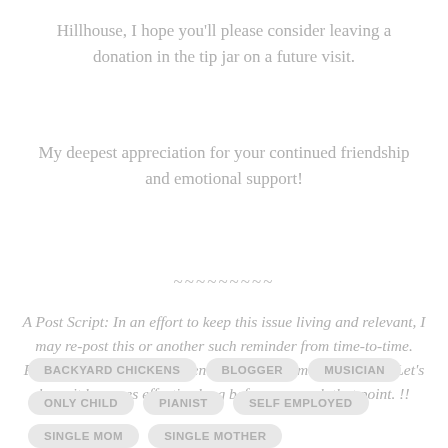Hillhouse, I hope you'll please consider leaving a donation in the tip jar on a future visit.
My deepest appreciation for your continued friendship and emotional support!
~~~~~~~~~
A Post Script: In an effort to keep this issue living and relevant, I may re-post this or another such reminder from time-to-time. Please do tell me if and when it should become too tedious. Let's hope it becomes effective long before we reach that point. !!
BACKYARD CHICKENS
BLOGGER
MUSICIAN
ONLY CHILD
PIANIST
SELF EMPLOYED
SINGLE MOM
SINGLE MOTHER